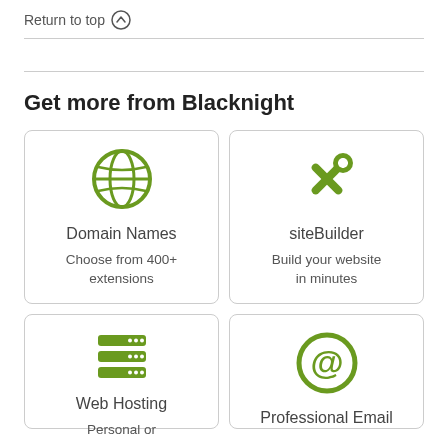Return to top ↑
Get more from Blacknight
[Figure (infographic): Globe icon representing Domain Names service]
Domain Names
Choose from 400+ extensions
[Figure (infographic): Crossed tools/wrench icon representing siteBuilder service]
siteBuilder
Build your website in minutes
[Figure (infographic): Server stack icon representing Web Hosting service]
Web Hosting
Personal or
[Figure (infographic): @ symbol icon representing Professional Email service]
Professional Email